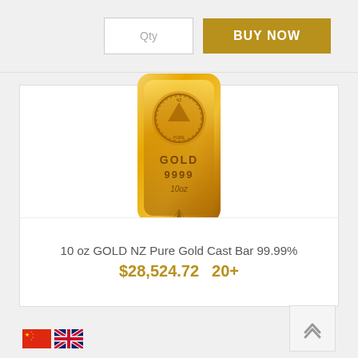Qty
BUY NOW
[Figure (photo): 10 oz gold cast bar showing NZ Pure brand logo, text GOLD 9999 10oz with silver fern emblem, rectangular shape with rounded corners, bright gold color]
10 oz GOLD NZ Pure Gold Cast Bar 99.99%
$28,524.72  20+